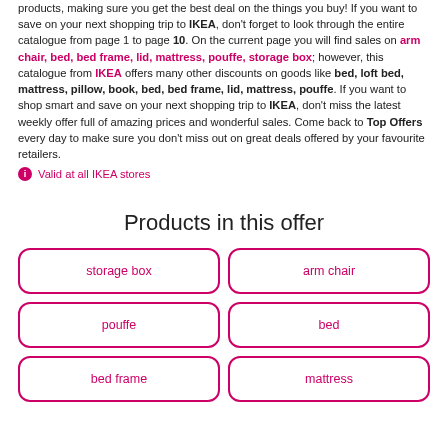products, making sure you get the best deal on the things you buy! If you want to save on your next shopping trip to IKEA, don't forget to look through the entire catalogue from page 1 to page 10. On the current page you will find sales on arm chair, bed, bed frame, lid, mattress, pouffe, storage box; however, this catalogue from IKEA offers many other discounts on goods like bed, loft bed, mattress, pillow, book, bed, bed frame, lid, mattress, pouffe. If you want to shop smart and save on your next shopping trip to IKEA, don't miss the latest weekly offer full of amazing prices and wonderful sales. Come back to Top Offers every day to make sure you don't miss out on great deals offered by your favourite retailers.
Valid at all IKEA stores
Products in this offer
storage box
arm chair
pouffe
bed
bed frame
mattress